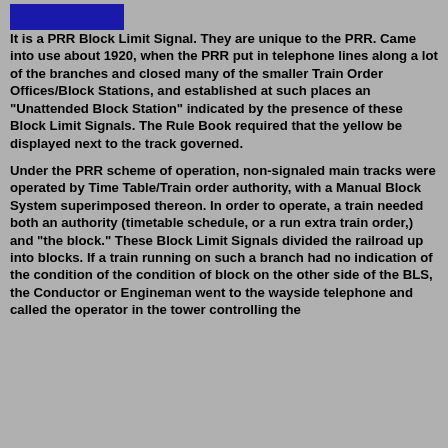[Figure (logo): Blue rectangular logo/banner at top left]
It is a PRR Block Limit Signal.  They are unique to the PRR. Came into use about 1920, when the PRR put in telephone lines along a lot of the branches and closed many of the smaller Train Order Offices/Block Stations, and established at such places an "Unattended Block Station" indicated by the presence of these Block Limit Signals.  The Rule Book required that the yellow be displayed next to the track governed.
Under the PRR scheme of operation, non-signaled main tracks were operated by Time Table/Train order authority, with a Manual Block System superimposed thereon. In order to operate, a train needed both an authority (timetable schedule, or a run extra train order,) and "the block."  These Block Limit Signals divided the railroad up into blocks.  If a train running on such a branch had no indication of the condition of the condition of block on the other side of the BLS, the Conductor or Engineman went to the wayside telephone and called the operator in the tower controlling the